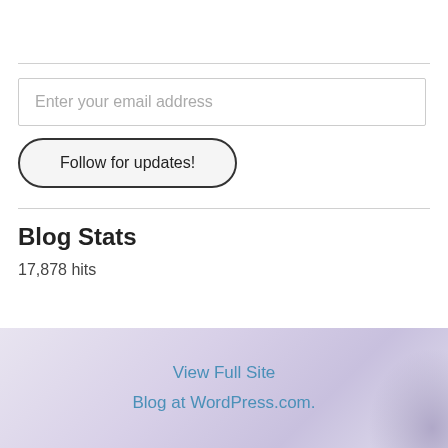Enter your email address
Follow for updates!
Blog Stats
17,878 hits
View Full Site
Blog at WordPress.com.